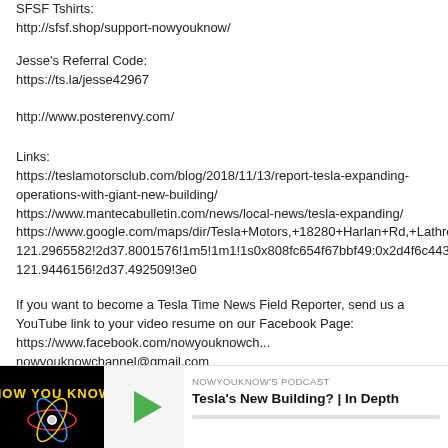SFSF Tshirts:
http://sfsf.shop/support-nowyouknow/
Jesse's Referral Code:
https://ts.la/jesse42967
http://www.posterenvy.com/
Links:
https://teslamotorsclub.com/blog/2018/11/13/report-tesla-expanding-operations-with-giant-new-building/
https://www.mantecabulletin.com/news/local-news/tesla-expanding/
https://www.google.com/maps/dir/Tesla+Motors,+18280+Harlan+Rd,+Lathrop,+CA
121.2965582!2d37.8001576!1m5!1m1!1s0x808fc654f67bbf49:0x2d4f6c443c47fb2
121.9446156!2d37.492509!3e0
If you want to become a Tesla Time News Field Reporter, send us a YouTube link to your video resume on our Facebook Page:
https://www.facebook.com/nowyouknowch...
nowyouknowchannel@gmail.com
[Figure (other): Podcast bar showing Now You Know logo thumbnail, play button, podcast label 'NOWYOUKNOW'S PODCAST' and title 'Tesla's New Building? | In Depth']